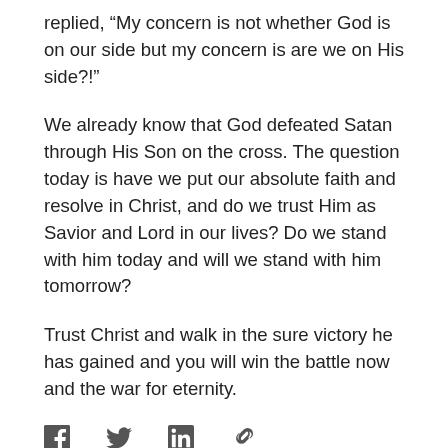replied, “My concern is not whether God is on our side but my concern is are we on His side?!”
We already know that God defeated Satan through His Son on the cross. The question today is have we put our absolute faith and resolve in Christ, and do we trust Him as Savior and Lord in our lives? Do we stand with him today and will we stand with him tomorrow?
Trust Christ and walk in the sure victory he has gained and you will win the battle now and the war for eternity.
[Figure (infographic): Social sharing icons: Facebook (f), Twitter (bird), LinkedIn (in), and a link/chain icon]